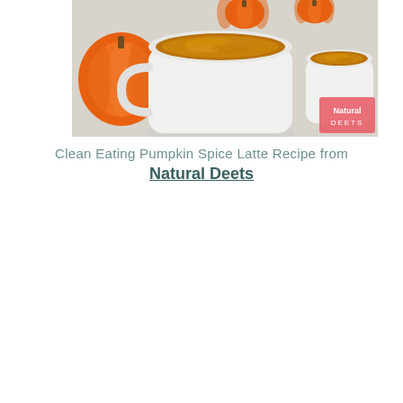[Figure (photo): Overhead photo of two white ceramic mugs filled with pumpkin spice latte (golden-brown frothy beverage), surrounded by small orange pumpkins on a light gray/white surface. A pink square watermark in the lower right reads 'Natural Deets'.]
Clean Eating Pumpkin Spice Latte Recipe from Natural Deets